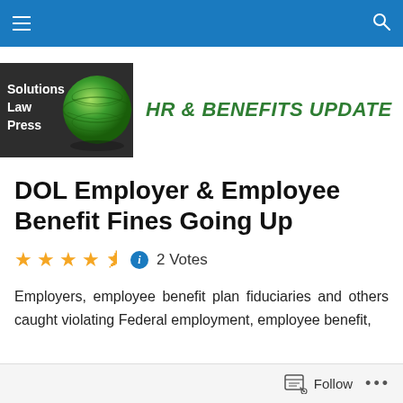Solutions Law Press — HR & Benefits Update
[Figure (logo): Solutions Law Press logo with green sphere graphic and 'HR & BENEFITS UPDATE' text in green]
DOL Employer & Employee Benefit Fines Going Up
★★★★½ ⓘ 2 Votes
Employers, employee benefit plan fiduciaries and others caught violating Federal employment, employee benefit,
Follow